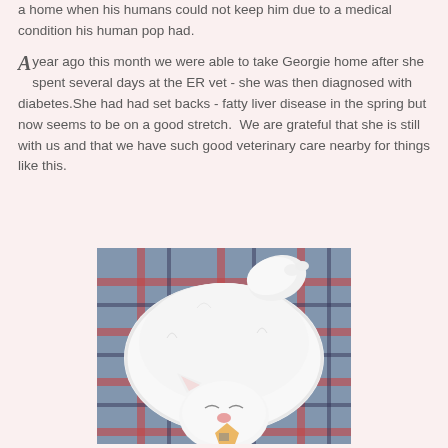a home when his humans could not keep him due to a medical condition his human pop had.
A year ago this month we were able to take Georgie home after she spent several days at the ER vet - she was then diagnosed with diabetes.She had had set backs - fatty liver disease in the spring but now seems to be on a good stretch.  We are grateful that she is still with us and that we have such good veterinary care nearby for things like this.
[Figure (photo): A white fluffy cat lying on its back on a plaid blanket, appearing relaxed with eyes closed.]